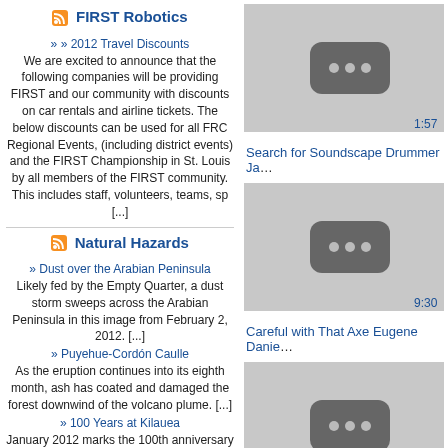FIRST Robotics
» 2012 Travel Discounts
We are excited to announce that the following companies will be providing FIRST and our community with discounts on car rentals and airline tickets. The below discounts can be used for all FRC Regional Events, (including district events) and the FIRST Championship in St. Louis by all members of the FIRST community.  This includes staff, volunteers, teams, sp [...]
Natural Hazards
» Dust over the Arabian Peninsula
Likely fed by the Empty Quarter, a dust storm sweeps across the Arabian Peninsula in this image from February 2, 2012. [...]
» Puyehue-Cordón Caulle
As the eruption continues into its eighth month, ash has coated and damaged the forest downwind of the volcano plume. [...]
» 100 Years at Kilauea
January 2012 marks the 100th anniversary of the Hawaiian Volcano Observatory, situated on the rim of Kilauea Caldera. [...]
Science
» Castaway Lizards Offer New Look at Evolutionary Processes
Biologists who released lizards on tiny uninhabited islands in the Bahamas have uncovered a seldom-observed interaction between evolutionary processes. Jason Kolbe, a biologist at the University of Rhode Island (URI)--along with colleagues at Duke
[Figure (screenshot): Video thumbnail with play icon, duration 1:57]
Search for Soundscape Drummer Ja…
[Figure (screenshot): Video thumbnail with play icon, duration 9:30]
Careful with That Axe Eugene Danie…
[Figure (screenshot): Video thumbnail with play icon, duration 9:04]
Careful with That Axe Eugene Danie…
[Figure (screenshot): Video thumbnail, partially visible at bottom]